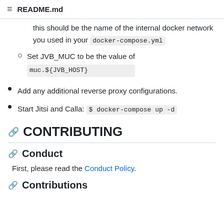README.md
this should be the name of the internal docker network you used in your docker-compose.yml
Set JVB_MUC to be the value of muc.${JVB_HOST}
Add any additional reverse proxy configurations.
Start Jitsi and Calla: $ docker-compose up -d
CONTRIBUTING
Conduct
First, please read the Conduct Policy.
Contributions